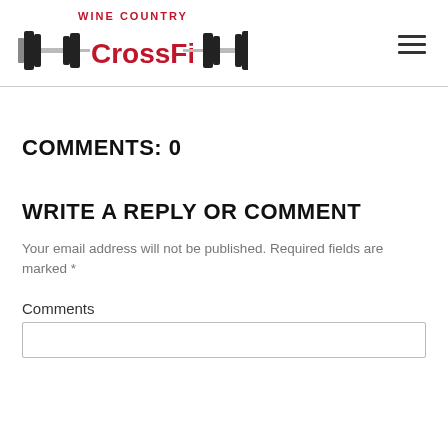Wine Country CrossFit
COMMENTS: 0
WRITE A REPLY OR COMMENT
Your email address will not be published. Required fields are marked *
Comments